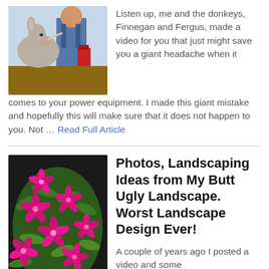[Figure (photo): A person in overalls with a donkey licking their face, outdoors setting with a red container visible]
Listen up, me and the donkeys, Finnegan and Fergus, made a video for you that just might save you a giant headache when it comes to your power equipment. I made this giant mistake and hopefully this will make sure that it does not happen to you. Not … Read Full Article
[Figure (photo): Close-up of bright pink/magenta flowers with green foliage against dark mulch background]
Photos, Landscaping Ideas from My Butt Ugly Landscape. Worst Landscape Design Ever!
A couple of years ago I posted a video and some